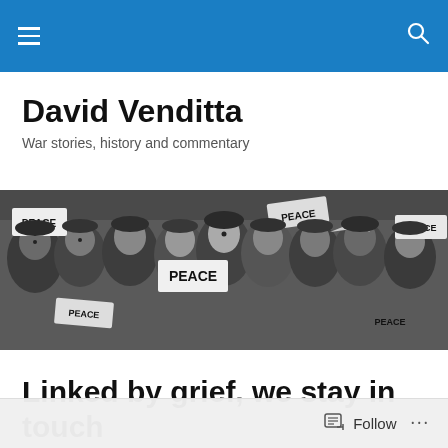David Venditta — navigation bar
David Venditta
War stories, history and commentary
[Figure (photo): Black and white photograph of a large crowd of soldiers holding 'PEACE' signs, smiling and celebrating.]
Linked by grief, we stay in touch
[Figure (photo): Partially visible article thumbnail photo at the bottom of the page.]
Follow ...